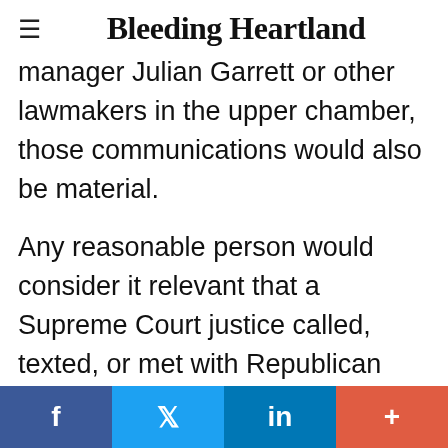Bleeding Heartland
manager Julian Garrett or other lawmakers in the upper chamber, those communications would also be material.

Any reasonable person would consider it relevant that a Supreme Court justice called, texted, or met with Republican lawmakers to encourage passage of a bill affecting the judiciary. Cady wrote that one of his high court colleagues "generally confirmed the report" from an attorney who